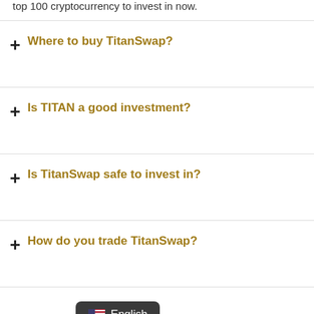top 100 cryptocurrency to invest in now.
Where to buy TitanSwap?
Is TITAN a good investment?
Is TitanSwap safe to invest in?
How do you trade TitanSwap?
TitanSwap?